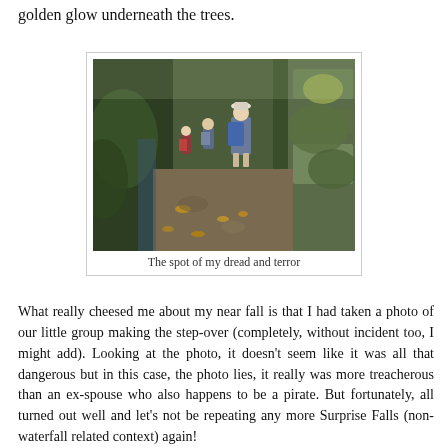golden glow underneath the trees.
[Figure (photo): Several hikers walking single-file along a narrow, rocky trail through a dense green forest with ferns and autumn-colored leaves on the ground. The trail is steep and bordered by mossy rocks and lush vegetation.]
The spot of my dread and terror
What really cheesed me about my near fall is that I had taken a photo of our little group making the step-over (completely, without incident too, I might add). Looking at the photo, it doesn't seem like it was all that dangerous but in this case, the photo lies, it really was more treacherous than an ex-spouse who also happens to be a pirate. But fortunately, all turned out well and let's not be repeating any more Surprise Falls (non-waterfall related context) again!